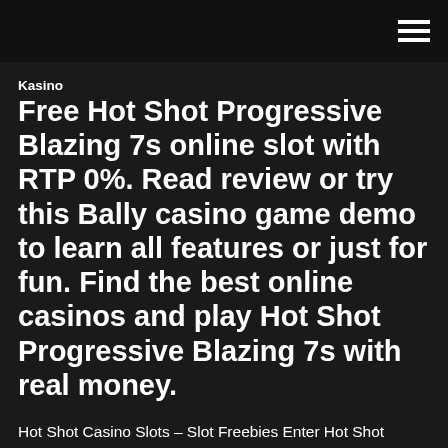Kasino
Free Hot Shot Progressive Blazing 7s online slot with RTP 0%. Read review or try this Bally casino game demo to learn all features or just for fun. Find the best online casinos and play Hot Shot Progressive Blazing 7s with real money.
Hot Shot Casino Slots – Slot Freebies Enter Hot Shot Casino and play the biggest names in slots: Bally, WMS and